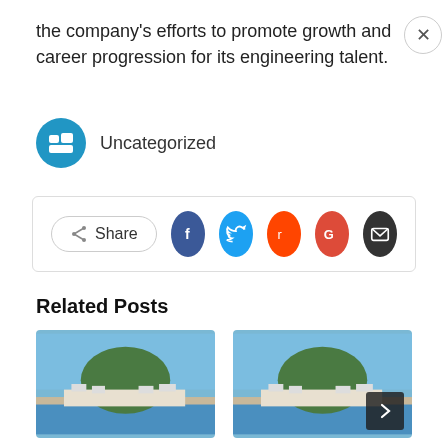the company's efforts to promote growth and career progression for its engineering talent.
Uncategorized
[Figure (screenshot): Share buttons row: Share button with icons for Facebook, Twitter, Reddit, Google, and Email]
Related Posts
[Figure (photo): Coastal city scene with a green hill, white buildings along waterfront, and blue water in foreground]
[Figure (photo): Coastal city scene with a green hill, white buildings along waterfront, and blue water in foreground]